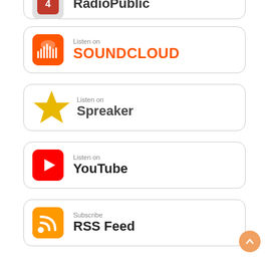[Figure (logo): RadioPublic listen badge - partially visible at top of page]
[Figure (logo): Listen on SoundCloud badge with orange SoundCloud icon and orange SOUNDCLOUD text]
[Figure (logo): Listen on Spreaker badge with yellow star logo and Spreaker text]
[Figure (logo): Listen on YouTube badge with red YouTube play button icon and YouTube text]
[Figure (logo): Subscribe RSS Feed badge with orange RSS icon and RSS Feed text]